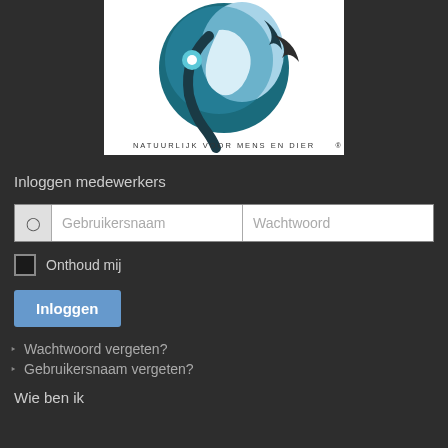[Figure (logo): Circular logo with a woman's face profile in blue tones, with feathers and flower, text 'NATUURLIJK VOOR MENS EN DIER' at the bottom]
Inloggen medewerkers
Gebruikersnaam   Wachtwoord
Onthoud mij
Inloggen
Wachtwoord vergeten?
Gebruikersnaam vergeten?
Wie ben ik